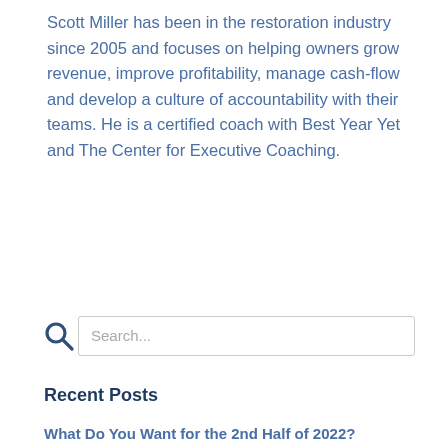Scott Miller has been in the restoration industry since 2005 and focuses on helping owners grow revenue, improve profitability, manage cash-flow and develop a culture of accountability with their teams. He is a certified coach with Best Year Yet and The Center for Executive Coaching.
Search...
Recent Posts
What Do You Want for the 2nd Half of 2022?